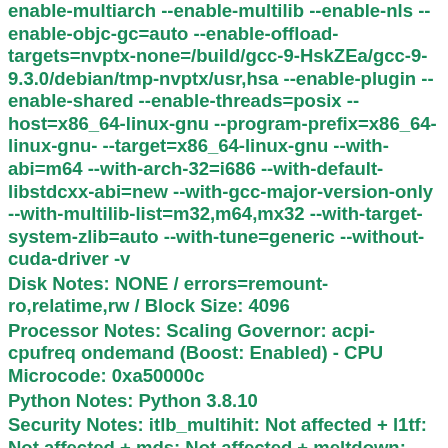enable-multiarch --enable-multilib --enable-nls --enable-objc-gc=auto --enable-offload-targets=nvptx-none=/build/gcc-9-HskZEa/gcc-9-9.3.0/debian/tmp-nvptx/usr,hsa --enable-plugin --enable-shared --enable-threads=posix --host=x86_64-linux-gnu --program-prefix=x86_64-linux-gnu- --target=x86_64-linux-gnu --with-abi=m64 --with-arch-32=i686 --with-default-libstdcxx-abi=new --with-gcc-major-version-only --with-multilib-list=m32,m64,mx32 --with-target-system-zlib=auto --with-tune=generic --without-cuda-driver -v
Disk Notes: NONE / errors=remount-ro,relatime,rw / Block Size: 4096
Processor Notes: Scaling Governor: acpi-cpufreq ondemand (Boost: Enabled) - CPU Microcode: 0xa50000c
Python Notes: Python 3.8.10
Security Notes: itlb_multihit: Not affected + l1tf: Not affected + mds: Not affected + meltdown: Not affected + spec_store_bypass: Mitigation of SSB disabled via prctl and